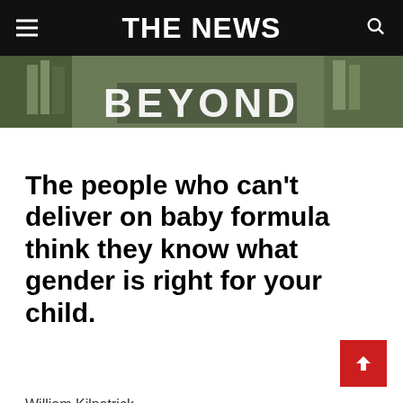THE NEWS
[Figure (photo): Photograph of store shelves with products, overlaid with large white text reading BEYOND]
The people who can't deliver on baby formula think they know what gender is right for your child.
William Kilpatrick